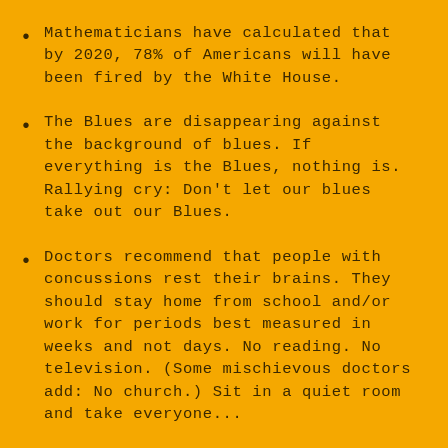Mathematicians have calculated that by 2020, 78% of Americans will have been fired by the White House.
The Blues are disappearing against the background of blues. If everything is the Blues, nothing is. Rallying cry: Don't let our blues take out our Blues.
Doctors recommend that people with concussions rest their brains. They should stay home from school and/or work for periods best measured in weeks and not days. No reading. No television. (Some mischievous doctors add: No church.) Sit in a quiet room and take everyone...